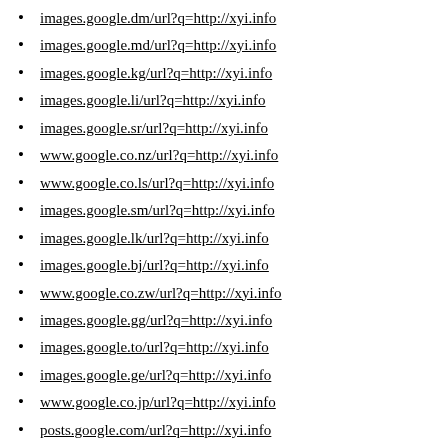images.google.dm/url?q=http://xyi.info
images.google.md/url?q=http://xyi.info
images.google.kg/url?q=http://xyi.info
images.google.li/url?q=http://xyi.info
images.google.sr/url?q=http://xyi.info
www.google.co.nz/url?q=http://xyi.info
www.google.co.ls/url?q=http://xyi.info
images.google.sm/url?q=http://xyi.info
images.google.lk/url?q=http://xyi.info
images.google.bj/url?q=http://xyi.info
www.google.co.zw/url?q=http://xyi.info
images.google.gg/url?q=http://xyi.info
images.google.to/url?q=http://xyi.info
images.google.ge/url?q=http://xyi.info
www.google.co.jp/url?q=http://xyi.info
posts.google.com/url?q=http://xyi.info
images.google.am/url?q=http://xyi.info
cse.google.co.ma/url?q=http://xyi.info
images.google.cv/url?q=http://xyi.info